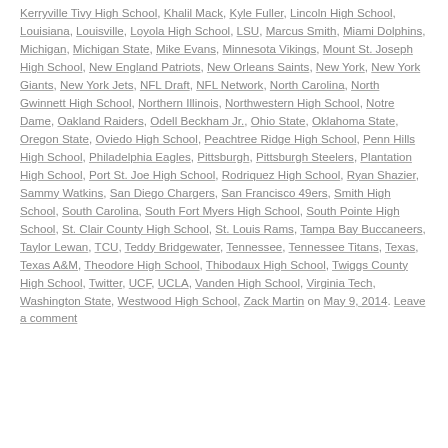Kerryville Tivy High School, Khalil Mack, Kyle Fuller, Lincoln High School, Louisiana, Louisville, Loyola High School, LSU, Marcus Smith, Miami Dolphins, Michigan, Michigan State, Mike Evans, Minnesota Vikings, Mount St. Joseph High School, New England Patriots, New Orleans Saints, New York, New York Giants, New York Jets, NFL Draft, NFL Network, North Carolina, North Gwinnett High School, Northern Illinois, Northwestern High School, Notre Dame, Oakland Raiders, Odell Beckham Jr., Ohio State, Oklahoma State, Oregon State, Oviedo High School, Peachtree Ridge High School, Penn Hills High School, Philadelphia Eagles, Pittsburgh, Pittsburgh Steelers, Plantation High School, Port St. Joe High School, Rodriquez High School, Ryan Shazier, Sammy Watkins, San Diego Chargers, San Francisco 49ers, Smith High School, South Carolina, South Fort Myers High School, South Pointe High School, St. Clair County High School, St. Louis Rams, Tampa Bay Buccaneers, Taylor Lewan, TCU, Teddy Bridgewater, Tennessee, Tennessee Titans, Texas, Texas A&M, Theodore High School, Thibodaux High School, Twiggs County High School, Twitter, UCF, UCLA, Vanden High School, Virginia Tech, Washington State, Westwood High School, Zack Martin on May 9, 2014. Leave a comment